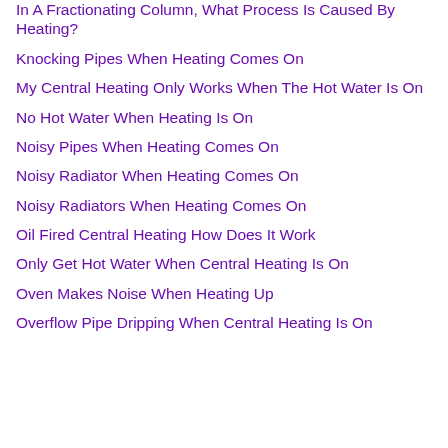In A Fractionating Column, What Process Is Caused By Heating?
Knocking Pipes When Heating Comes On
My Central Heating Only Works When The Hot Water Is On
No Hot Water When Heating Is On
Noisy Pipes When Heating Comes On
Noisy Radiator When Heating Comes On
Noisy Radiators When Heating Comes On
Oil Fired Central Heating How Does It Work
Only Get Hot Water When Central Heating Is On
Oven Makes Noise When Heating Up
Overflow Pipe Dripping When Central Heating Is On